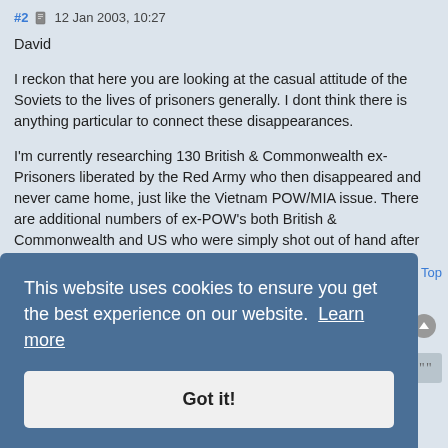#2  12 Jan 2003, 10:27
David
I reckon that here you are looking at the casual attitude of the Soviets to the lives of prisoners generally. I dont think there is anything particular to connect these disappearances.

I'm currently researching 130 British & Commonwealth ex-Prisoners liberated by the Red Army who then disappeared and never came home, just like the Vietnam POW/MIA issue. There are additional numbers of ex-POW's both British & Commonwealth and US who were simply shot out of hand after "liberation by Soviet forces" as they were considered "suspicious".

Pete
This website uses cookies to ensure you get the best experience on our website. Learn more
Got it!
Top
Minotauros
Member